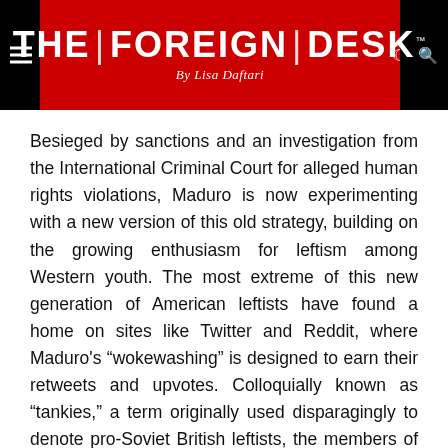THE FOREIGN DESK By Lisa Daftari
Besieged by sanctions and an investigation from the International Criminal Court for alleged human rights violations, Maduro is now experimenting with a new version of this old strategy, building on the growing enthusiasm for leftism among Western youth. The most extreme of this new generation of American leftists have found a home on sites like Twitter and Reddit, where Maduro’s “wokewashing” is designed to earn their retweets and upvotes. Colloquially known as “tankies,” a term originally used disparagingly to denote pro-Soviet British leftists, the members of these online communities of leftists who support foreign authoritarian regimes — many of whom decorate their profiles with a hammer and sickle or emoji flags of countries like Cuba, Venezuela and China